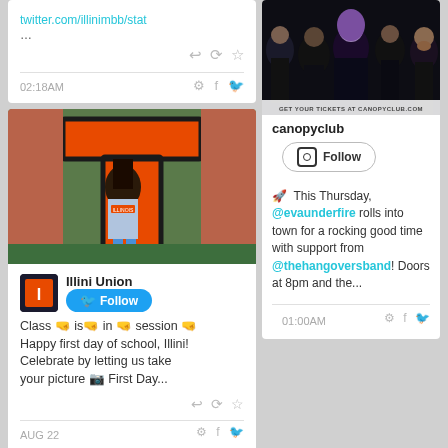twitter.com/illinimbb/stat...
02:18AM
[Figure (photo): Student standing in front of large orange letter T at University of Illinois]
Illini Union
Class 👋 is 👋 in 👋 session 👋 Happy first day of school, Illini! Celebrate by letting us take your picture 📷 First Day...
AUG 22
[Figure (photo): Band photo - group of five people in dark clothing, concert promotional image with text GET YOUR TICKETS AT CANOPYCLUB.COM]
canopyclub
🚀 This Thursday, @evaunderfire rolls into town for a rocking good time with support from @thehangoversband! Doors at 8pm and the...
01:00AM